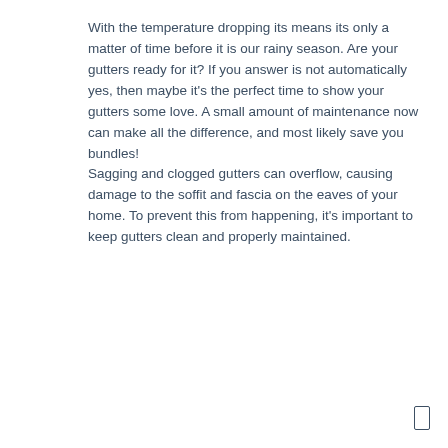With the temperature dropping its means its only a matter of time before it is our rainy season. Are your gutters ready for it? If you answer is not automatically yes, then maybe it's the perfect time to show your gutters some love. A small amount of maintenance now can make all the difference, and most likely save you bundles! Sagging and clogged gutters can overflow, causing damage to the soffit and fascia on the eaves of your home. To prevent this from happening, it's important to keep gutters clean and properly maintained.